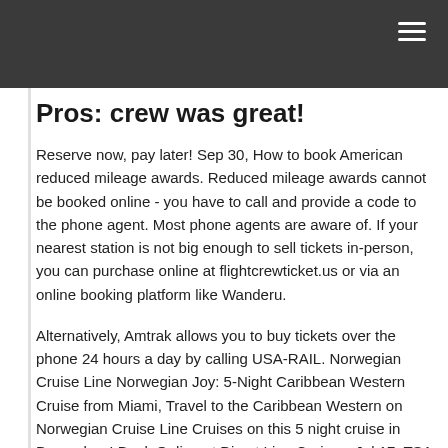Pros: crew was great!
Reserve now, pay later! Sep 30, How to book American reduced mileage awards. Reduced mileage awards cannot be booked online - you have to call and provide a code to the phone agent. Most phone agents are aware of. If your nearest station is not big enough to sell tickets in-person, you can purchase online at flightcrewticket.us or via an online booking platform like Wanderu.
Alternatively, Amtrak allows you to buy tickets over the phone 24 hours a day by calling USA-RAIL. Norwegian Cruise Line Norwegian Joy: 5-Night Caribbean Western Cruise from Miami, Travel to the Caribbean Western on Norwegian Cruise Line Cruises on this 5 night cruise in December ! Book Online at Direct Line Cruises. Jul 17, TSA - This is